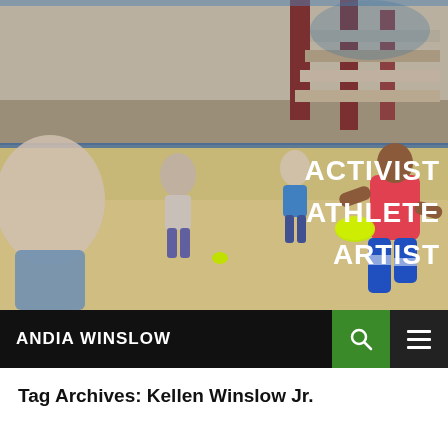[Figure (photo): Indoor sand court scene with athletes playing ultimate frisbee. A woman in a red sports bra and blue patterned leggings runs holding a neon green disc. Other players are visible in the background on a sand court inside a sports facility. Text overlays on the right read ACTIVIST, ATHLETE, ARTIST in white bold uppercase letters.]
ANDIA WINSLOW
Tag Archives: Kellen Winslow Jr.